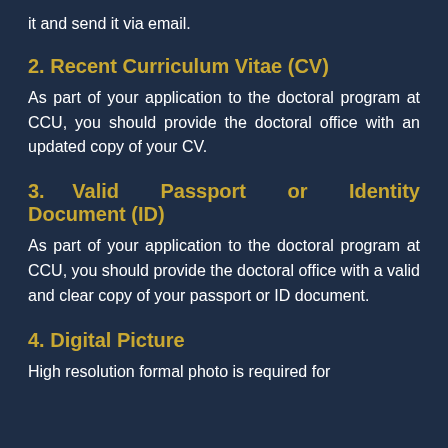it and send it via email.
2. Recent Curriculum Vitae (CV)
As part of your application to the doctoral program at CCU, you should provide the doctoral office with an updated copy of your CV.
3. Valid Passport or Identity Document (ID)
As part of your application to the doctoral program at CCU, you should provide the doctoral office with a valid and clear copy of your passport or ID document.
4. Digital Picture
High resolution formal photo is required for